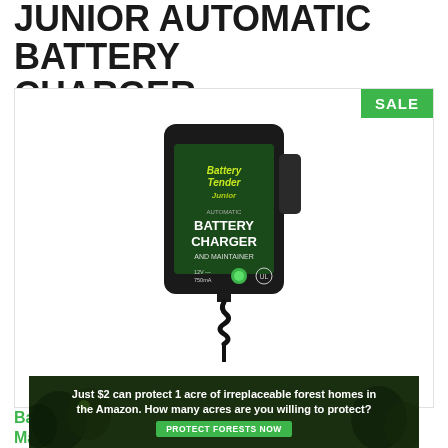JUNIOR AUTOMATIC BATTERY CHARGER
[Figure (photo): Battery Tender Junior automatic battery charger and maintainer product photo. Black rectangular device with green label showing 'Battery Tender Junior' logo, 'BATTERY CHARGER AND MAINTAINER' text, with a black cable extending from the bottom. A green LED indicator is visible on the front.]
SALE
Battery Tender Junior 12V Charger and Maintainer:
Just $2 can protect 1 acre of irreplaceable forest homes in the Amazon. How many acres are you willing to protect?
PROTECT FORESTS NOW